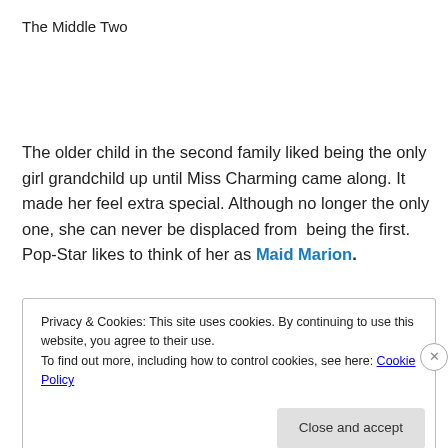The Middle Two
The older child in the second family liked being the only girl grandchild up until Miss Charming came along. It made her feel extra special. Although no longer the only one, she can never be displaced from  being the first. Pop-Star likes to think of her as Maid Marion.
Privacy & Cookies: This site uses cookies. By continuing to use this website, you agree to their use.
To find out more, including how to control cookies, see here: Cookie Policy
Close and accept